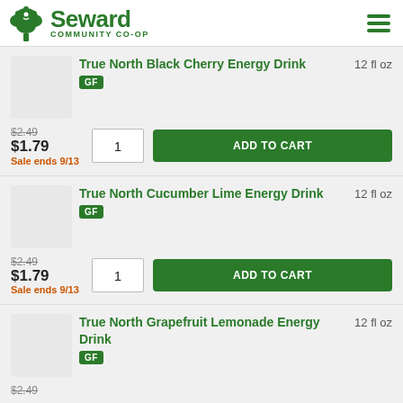Seward Community Co-op
True North Black Cherry Energy Drink
12 fl oz
GF
$2.49
$1.79
Sale ends 9/13
True North Cucumber Lime Energy Drink
12 fl oz
GF
$2.49
$1.79
Sale ends 9/13
True North Grapefruit Lemonade Energy Drink
12 fl oz
GF